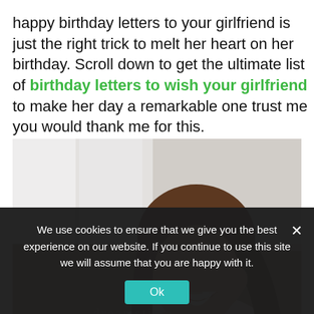happy birthday letters to your girlfriend is just the right trick to melt her heart on her birthday. Scroll down to get the ultimate list of birthday letters to wish your girlfriend to make her day a remarkable one trust me you would thank me for this.
[Figure (photo): A smiling young woman with long brown hair, resting her chin on her hand, laughing. Background is blurred indoor setting. Dreamstime watermark visible.]
We use cookies to ensure that we give you the best experience on our website. If you continue to use this site we will assume that you are happy with it.